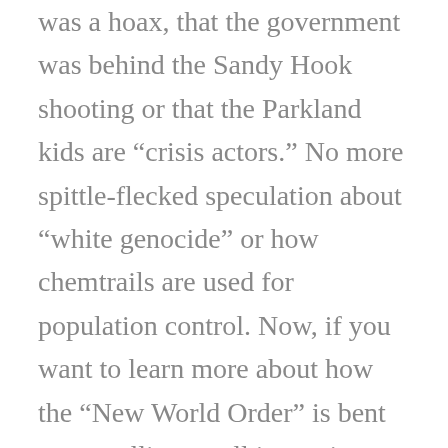was a hoax, that the government was behind the Sandy Hook shooting or that the Parkland kids are “crisis actors.” No more spittle-flecked speculation about “white genocide” or how chemtrails are used for population control. Now, if you want to learn more about how the “New World Order” is bent on corralling us all into prison camps, you’re going to have to type Infowars.com into the address bar yourself.
That’s right: This week, Apple,